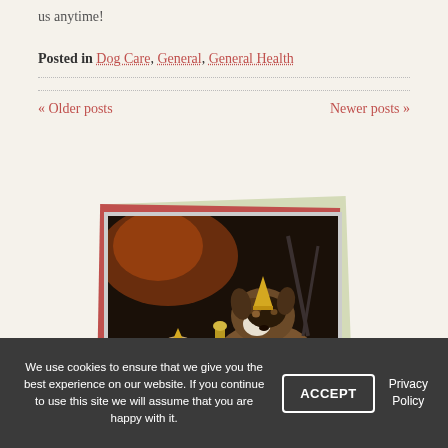us anytime!
Posted in Dog Care, General, General Health
« Older posts    Newer posts »
[Figure (photo): Two dogs wearing party hats sitting next to a champagne bottle and glasses, celebrating New Year's. The smaller dog is a Shih Tzu and the larger is an Australian Shepherd. The photo is displayed in a decorative frame with green and red backing cards.]
We use cookies to ensure that we give you the best experience on our website. If you continue to use this site we will assume that you are happy with it.
ACCEPT
Privacy Policy